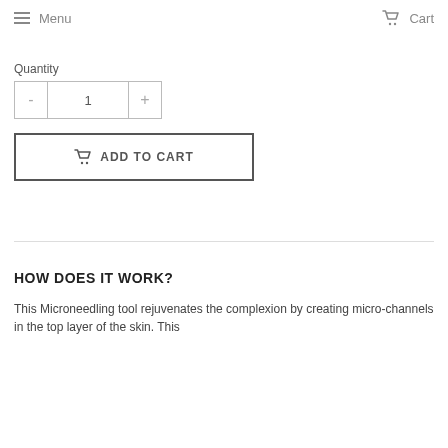Menu  Cart
Quantity
- 1 +
ADD TO CART
HOW DOES IT WORK?
This Microneedling tool rejuvenates the complexion by creating micro-channels in the top layer of the skin. This